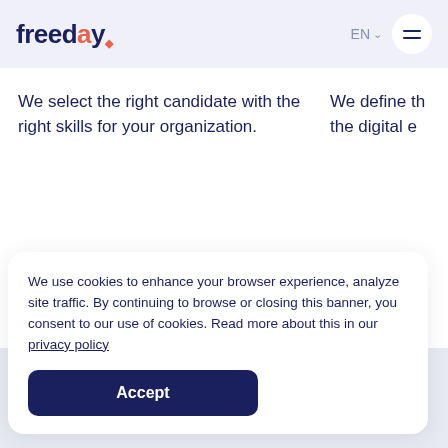freeday | EN | menu
We select the right candidate with the right skills for your organization.
We define the digital e…
[Figure (other): Five salmon/coral colored dot indicators for a carousel, the first dot being slightly more opaque (active)]
We use cookies to enhance your browser experience, analyze site traffic. By continuing to browse or closing this banner, you consent to our use of cookies. Read more about this in our privacy policy
Accept